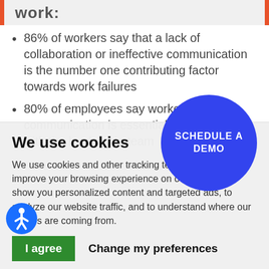work:
86% of workers say that a lack of collaboration or ineffective communication is the number one contributing factor towards work failures
80% of employees say worker communication is essential to build trust with the leadership team
54% of workers say that a strong sense of
We use cookies
We use cookies and other tracking technologies to improve your browsing experience on our website, to show you personalized content and targeted ads, to analyze our website traffic, and to understand where our visitors are coming from.
[Figure (other): Blue circular button with white text reading SCHEDULE A DEMO]
[Figure (other): Accessibility icon - wheelchair symbol in blue circle]
I agree   Change my preferences